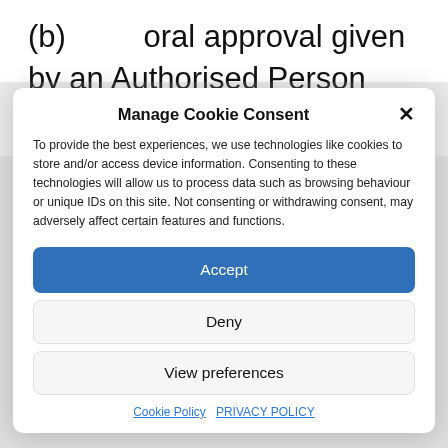(b)    oral approval given by an Authorised Person provided
Manage Cookie Consent
To provide the best experiences, we use technologies like cookies to store and/or access device information. Consenting to these technologies will allow us to process data such as browsing behaviour or unique IDs on this site. Not consenting or withdrawing consent, may adversely affect certain features and functions.
Accept
Deny
View preferences
Cookie Policy  PRIVACY POLICY